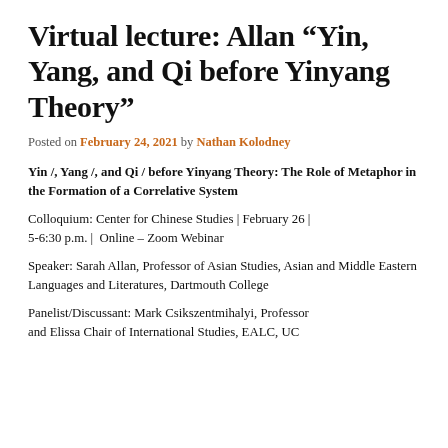Virtual lecture: Allan “Yin, Yang, and Qi before Yinyang Theory”
Posted on February 24, 2021 by Nathan Kolodney
Yin /, Yang /, and Qi / before Yinyang Theory: The Role of Metaphor in the Formation of a Correlative System
Colloquium: Center for Chinese Studies | February 26 | 5-6:30 p.m. |  Online – Zoom Webinar
Speaker: Sarah Allan, Professor of Asian Studies, Asian and Middle Eastern Languages and Literatures, Dartmouth College
Panelist/Discussant: Mark Csikszentmihalyi, Professor and Elissa Chair of International Studies, EALC, UC...